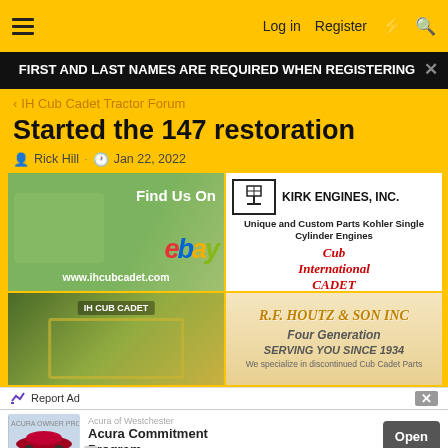☰   Log in  Register  ⚡  🔍
FIRST AND LAST NAMES ARE REQUIRED WHEN REGISTERING
< IH Cub Cadet Tractor Forum
Started the 147 restoration
Rick Hill · Jan 22, 2022
[Figure (photo): eBay ad: Cub Cadet mower on grass, text 'Find Us On ebay www.ihcubcadet.com']
[Figure (photo): Kirk Engines Inc. ad: logo, 'Unique and Custom Parts Kohler Single Cylinder Engines', Cub International Cadet logo and tractor image]
[Figure (photo): Cub Cadet tractor front grille restoration photo]
[Figure (photo): R.F. Houtz & Son Inc. ad: 'Four Generation SERVING YOU SINCE 1934']
Report Ad
Acura of Westchester
Acura Commitment Program